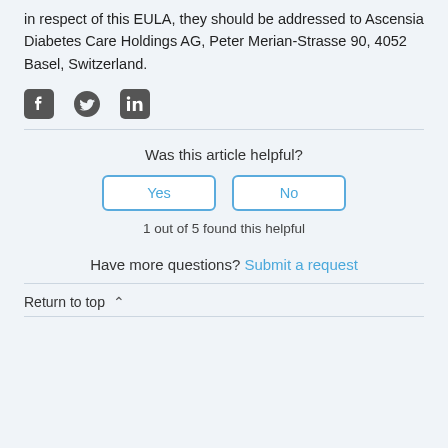in respect of this EULA, they should be addressed to Ascensia Diabetes Care Holdings AG, Peter Merian-Strasse 90, 4052 Basel, Switzerland.
[Figure (other): Social media icons: Facebook, Twitter, LinkedIn]
Was this article helpful?
Yes | No (buttons)
1 out of 5 found this helpful
Have more questions? Submit a request
Return to top ∧